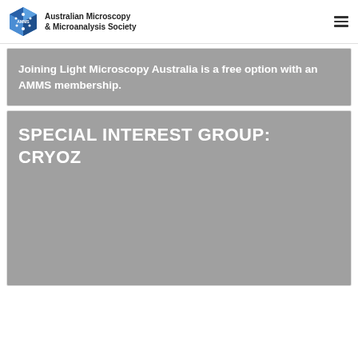Australian Microscopy & Microanalysis Society
Joining Light Microscopy Australia is a free option with an AMMS membership.
SPECIAL INTEREST GROUP: CRYOZ